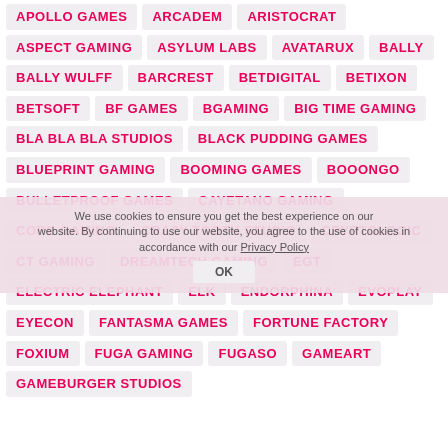APOLLO GAMES
ARCADEM
ARISTOCRAT
ASPECT GAMING
ASYLUM LABS
AVATARUX
BALLY
BALLY WULFF
BARCREST
BETDIGITAL
BETIXON
BETSOFT
BF GAMES
BGAMING
BIG TIME GAMING
BLA BLA BLA STUDIOS
BLACK PUDDING GAMES
BLUEPRINT GAMING
BOOMING GAMES
BOOONGO
BULLETPROOF GAMES
CAYETANO GAMING
CORE GAMING
CRAZY TOOTH STUDIO
CRYPTOLOGIC
CT GAMING
DREAMTECH GAMING
EGT
ELECTRIC ELEPHANT
ELK
ENDORPHINA
EVOPLAY
EYECON
FANTASMA GAMES
FORTUNE FACTORY
FOXIUM
FUGA GAMING
FUGASO
GAMEART
GAMEBURGER STUDIOS
We use cookies to ensure you get the best experience on our website. By continuing to use our website, you agree to the use of cookies in accordance with our Privacy Policy.